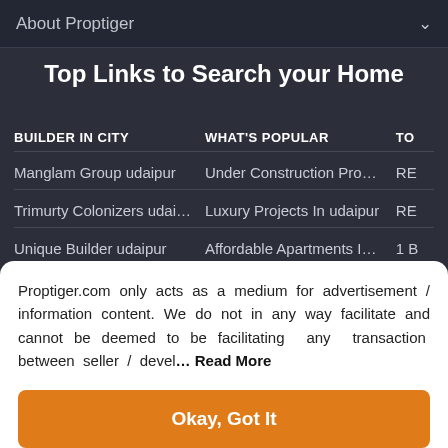About Proptiger
Top Links to Search your Home
| BUILDER IN CITY | WHAT'S POPULAR | TO |
| --- | --- | --- |
| Manglam Group udaipur | Under Construction Pro… | RE |
| Trimurty Colonizers udai… | Luxury Projects In udaipur | RE |
| Unique Builder udaipur | Affordable Apartments I… | 1 B |
| Builders in udaipur | New Launch Projects in … | 2 B |
Proptiger.com only acts as a medium for advertisement / information content. We do not in any way facilitate and cannot be deemed to be facilitating any transaction between seller / devel… Read More
Okay, Got It